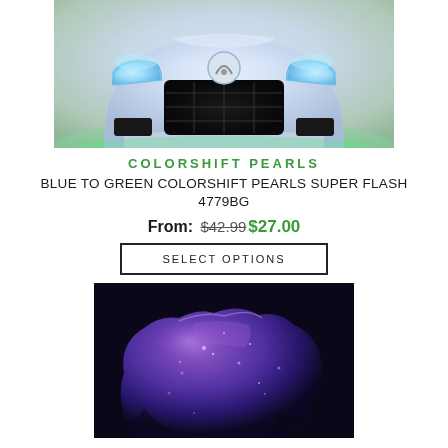[Figure (photo): Front view of a white/iridescent Infiniti car with blue-green colorshift pearl paint, showing grille and headlights]
COLORSHIFT PEARLS
BLUE TO GREEN COLORSHIFT PEARLS SUPER FLASH 4779BG
From: $42.99 $27.00
SELECT OPTIONS
[Figure (photo): Close-up of purple metallic/pearlescent paint blob showing deep violet color with sparkle effect]